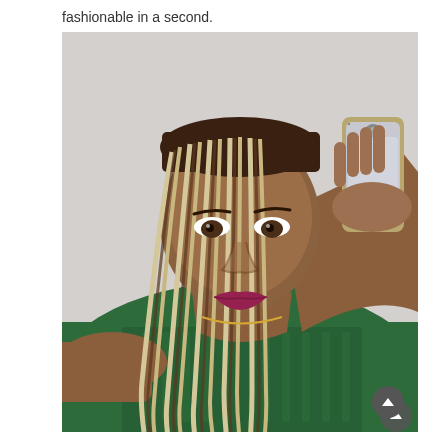fashionable in a second.
[Figure (photo): A young woman with long blonde and brown box braids taking a mirror selfie with a gold iPhone. She is wearing a green off-shoulder cable knit sweater and has a gold necklace. She has a pouty expression with pink-red lips. The background is a light grey wall.]